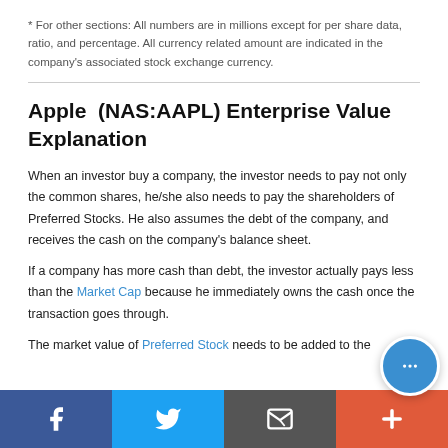* For other sections: All numbers are in millions except for per share data, ratio, and percentage. All currency related amount are indicated in the company's associated stock exchange currency.
Apple (NAS:AAPL) Enterprise Value Explanation
When an investor buy a company, the investor needs to pay not only the common shares, he/she also needs to pay the shareholders of Preferred Stocks. He also assumes the debt of the company, and receives the cash on the company's balance sheet.
If a company has more cash than debt, the investor actually pays less than the Market Cap because he immediately owns the cash once the transaction goes through.
The market value of Preferred Stock needs to be added to the